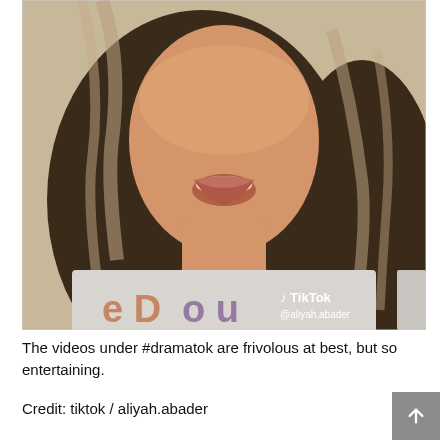[Figure (photo): TikTok screenshot of a young woman with long brown highlighted hair, mouth open speaking, wearing a light grey graphic sweatshirt. TikTok watermark and @aliyah.abader username visible in bottom-right corner.]
The videos under #dramatok are frivolous at best, but so entertaining.
Credit: tiktok / aliyah.abader